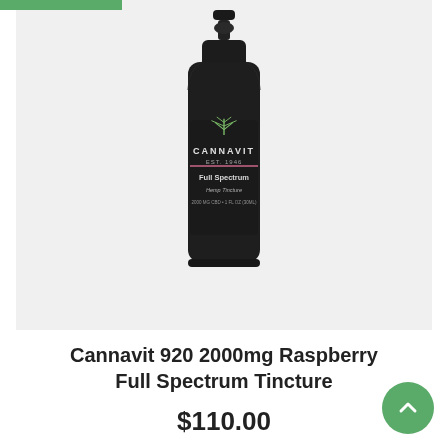[Figure (photo): Dark matte black glass dropper bottle with a black rubber-top dropper, labeled CANNAVIT EST. 1946, Full Spectrum Hemp Tincture, 2000mg CBD, 1 fl oz (30ml), with a green cannabis leaf logo on the label.]
Cannavit 920 2000mg Raspberry Full Spectrum Tincture
$110.00